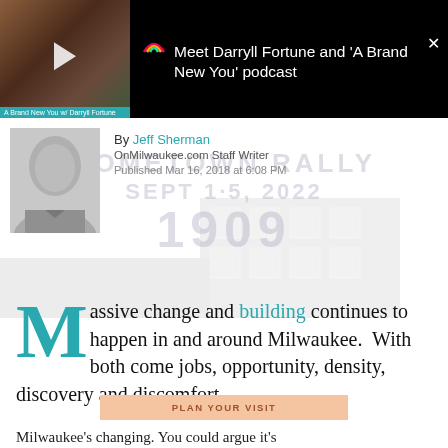[Figure (screenshot): Video thumbnail showing a person in a red KC Chiefs cap and red jacket at a microphone in a podcast studio setting. Overlay shows a podcast notification card: 'Meet Darryll Fortune and A Brand New You podcast' with a close button. The video thumbnail has a play button overlay and a teal caption bar reading 'A Brand New You w/ Darryll Fortune'.]
By Jeff Sherman
OnMilwaukee.com Staff Writer
Published Mar 16, 2018 at 6:08 PM
[Figure (photo): Background/watermark image of a building with text overlay 'HOMETOWN RALLY SEPT 1-5 2022' and '1909'. The image is faded and used as a decorative background behind the author information.]
Massive change and building continues to happen in and around Milwaukee.  With both come jobs, opportunity, density, discovery and discomfort.
PLAN YOUR VISIT
Milwaukee's changing. You could argue it's